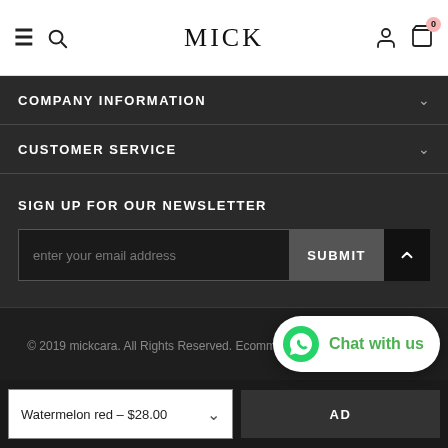MICK
COMPANY INFORMATION
CUSTOMER SERVICE
SIGN UP FOR OUR NEWSLETTER
enter your email address
SUBMIT
© 2019 mickcara. All Rights Reserved. Ecommerce Software by mickcara.
Watermelon red – $28.00
Chat with us